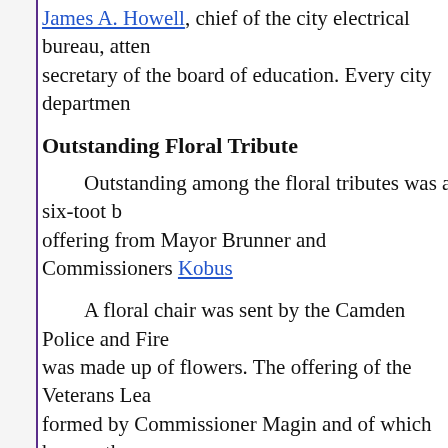James A. Howell, chief of the city electrical bureau, attem secretary of the board of education. Every city departmen
Outstanding Floral Tribute
Outstanding among the floral tributes was a six-toot b offering from Mayor Brunner and Commissioners Kobus
A floral chair was sent by the Camden Police and Fire was made up of flowers. The offering of the Veterans Lea formed by Commissioner Magin and of which he was the pillow.
The freeholders and county officials gave a large flora the employees of the board of education, the RCA Manuf fire bureaus, Pyne Point Athletic Association, the Elks, M
The floral tributes came in such numbers yesterday af Leonard and his assistants could not find room for them i They were banked on both sides, in the rear and over the
Among prominent officials and citizens who came to